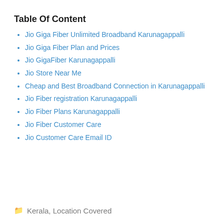Table Of Content
Jio Giga Fiber Unlimited Broadband Karunagappalli
Jio Giga Fiber Plan and Prices
Jio GigaFiber Karunagappalli
Jio Store Near Me
Cheap and Best Broadband Connection in Karunagappalli
Jio Fiber registration Karunagappalli
Jio Fiber Plans Karunagappalli
Jio Fiber Customer Care
Jio Customer Care Email ID
Kerala, Location Covered